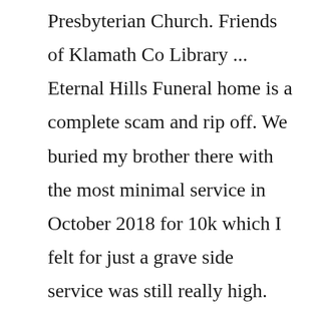Presbyterian Church. Friends of Klamath Co Library ... Eternal Hills Funeral home is a complete scam and rip off. We buried my brother there with the most minimal service in October 2018 for 10k which I felt for just a grave side service was still really high. The same services there now 3 years and a few months later, is over 20k!! Price gouging and destroying peoples dreams in the process.At the age of 50 years, 10 months and 24 days, a new and eternal